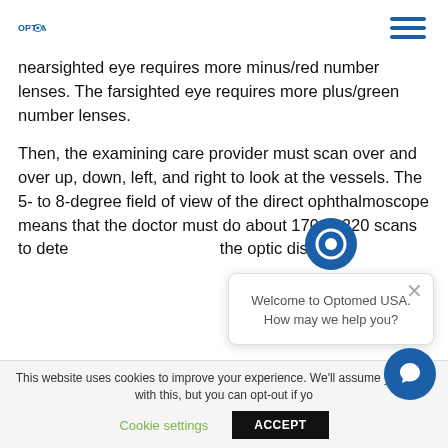OPTOMED
nearsighted eye requires more minus/red number lenses. The farsighted eye requires more plus/green number lenses.
Then, the examining care provider must scan over and over up, down, left, and right to look at the vessels. The 5- to 8-degree field of view of the direct ophthalmoscope means that the doctor must do about 170 to 220 scans to determine what the retina has and the optic disc.
Welcome to Optomed USA. How may we help you?
This website uses cookies to improve your experience. We'll assume you're ok with this, but you can opt-out if you